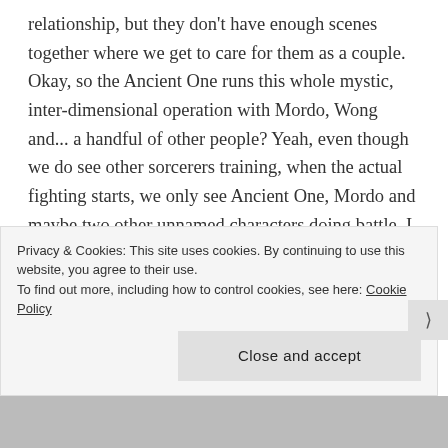relationship, but they don't have enough scenes together where we get to care for them as a couple. Okay, so the Ancient One runs this whole mystic, inter-dimensional operation with Mordo, Wong and... a handful of other people? Yeah, even though we do see other sorcerers training, when the actual fighting starts, we only see Ancient One, Mordo and maybe two other unnamed characters doing battle. I kind of wish both the Ancient One's group and Kaecilius' gang had more members.
Overall, I really love Doctor Strange! Benedict
Privacy & Cookies: This site uses cookies. By continuing to use this website, you agree to their use. To find out more, including how to control cookies, see here: Cookie Policy
Close and accept